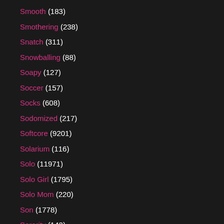Smooth (183)
Smothering (238)
Snatch (311)
Snowballing (88)
Soapy (127)
Soccer (157)
Socks (608)
Sodomized (217)
Softcore (9201)
Solarium (116)
Solo (11971)
Solo Girl (1795)
Solo Mom (220)
Son (1778)
Sorority (142)
Spandex (3465)